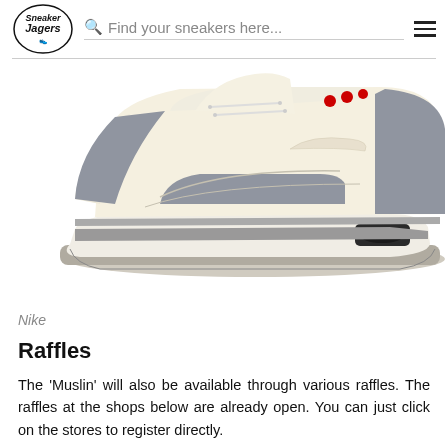Sneaker Jagers | Find your sneakers here...
[Figure (photo): Side profile view of a Nike Air Jordan 3 sneaker in cream/muslin colorway with grey suede accents and small red dots on the upper, sitting on a white background.]
Nike
Raffles
The 'Muslin' will also be available through various raffles. The raffles at the shops below are already open. You can just click on the stores to register directly.